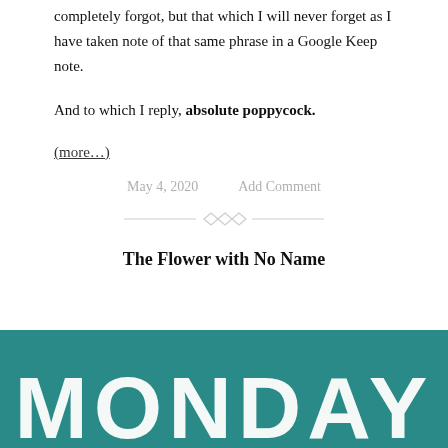completely forgot, but that which I will never forget as I have taken note of that same phrase in a Google Keep note.
And to which I reply, absolute poppycock.
(more...)
May 4, 2020    Add Comment
[Figure (illustration): Decorative divider with diamond shapes and horizontal lines]
The Flower with No Name
[Figure (illustration): Teal/dark cyan background section with large white handwritten-style text reading MONDAY]